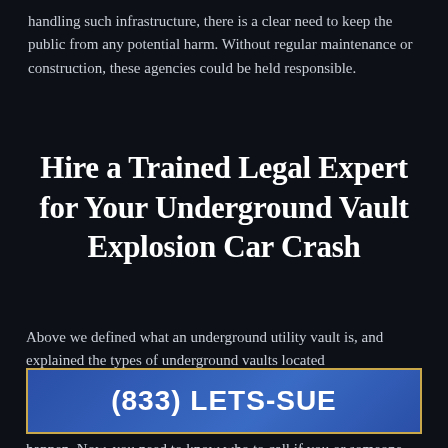When an organization takes on the responsibility of handling such infrastructure, there is a clear need to keep the public from any potential harm. Without regular maintenance or construction, these agencies could be held responsible.
Hire a Trained Legal Expert for Your Underground Vault Explosion Car Crash
Above we defined what an underground utility vault is, and explained the types of underground vaults located
[Figure (other): Blue banner button with gold border displaying phone number (833) LETS-SUE]
happen. Now, you need to know who to call if you or someone you love was injured in a subterranean vault